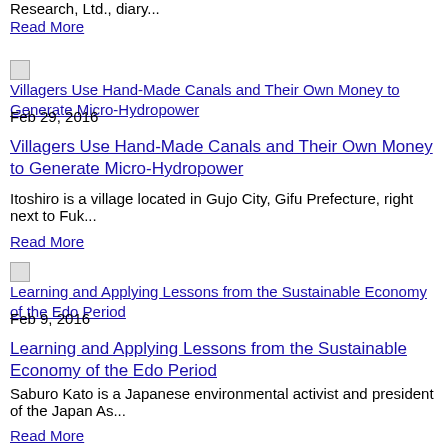Research, Ltd., diary...
Read More
[Figure (other): Broken image placeholder for article: Villagers Use Hand-Made Canals and Their Own Money to Generate Micro-Hydropower]
Feb 29, 2016
Villagers Use Hand-Made Canals and Their Own Money to Generate Micro-Hydropower
Itoshiro is a village located in Gujo City, Gifu Prefecture, right next to Fuk...
Read More
[Figure (other): Broken image placeholder for article: Learning and Applying Lessons from the Sustainable Economy of the Edo Period]
Feb 9, 2016
Learning and Applying Lessons from the Sustainable Economy of the Edo Period
Saburo Kato is a Japanese environmental activist and president of the Japan As...
Read More
[Figure (other): Broken image placeholder for article: Using the Circulation of Local Money to Recover the Economy]